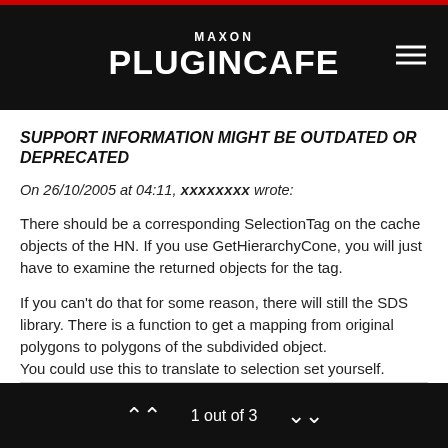MAXON PLUGINCAFE
SUPPORT INFORMATION MIGHT BE OUTDATED OR DEPRECATED
On 26/10/2005 at 04:11, xxxxxxxx wrote:
There should be a corresponding SelectionTag on the cache objects of the HN. If you use GetHierarchyCone, you will just have to examine the returned objects for the tag.
If you can't do that for some reason, there will still the SDS library. There is a function to get a mapping from original polygons to polygons of the subdivided object. You could use this to translate to selection set yourself.
1 out of 3